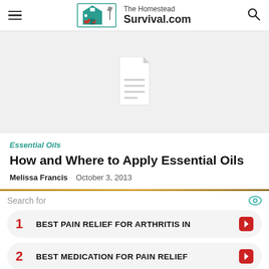The Homestead Survival.com
[Figure (photo): Hero image placeholder with a document icon on light gray background]
Essential Oils
How and Where to Apply Essential Oils
Melissa Francis · October 3, 2013
[Figure (infographic): Advertisement block: Search for - 1 BEST PAIN RELIEF FOR ARTHRITIS IN, 2 BEST MEDICATION FOR PAIN RELIEF]